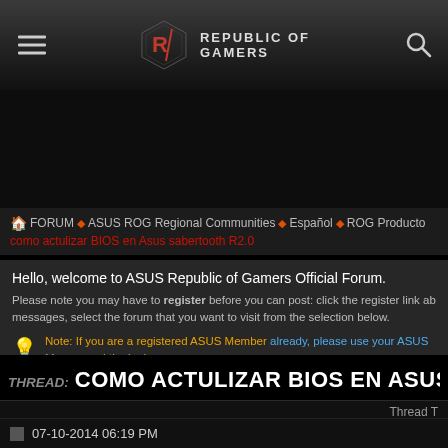REPUBLIC OF GAMERS
FORUM ❯ ASUS ROG Regional Communities ❯ Español ❯ ROG Producto
como actulizar BIOS en Asus sabertooth R2.0
Hello, welcome to ASUS Republic of Gamers Official Forum.
Please note you may have to register before you can post: click the register link ab messages, select the forum that you want to visit from the selection below.
Note: If you are a registered ASUS Member already, please use your ASUS Me proceed the login.
THREAD: COMO ACTULIZAR BIOS EN ASUS SAB
Thread T
07-10-2014 06:19 PM